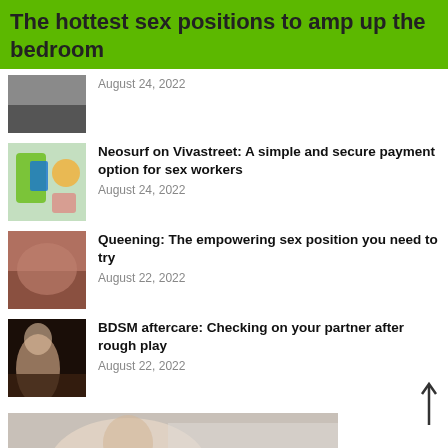The hottest sex positions to amp up the bedroom
August 24, 2022
[Figure (photo): Partial article thumbnail image]
Neosurf on Vivastreet: A simple and secure payment option for sex workers
August 24, 2022
[Figure (photo): Neosurf article thumbnail - phone with payment app]
Queening: The empowering sex position you need to try
August 22, 2022
[Figure (photo): Queening article thumbnail]
BDSM aftercare: Checking on your partner after rough play
August 22, 2022
[Figure (photo): BDSM aftercare article thumbnail]
[Figure (photo): Bottom large image - person on bed]